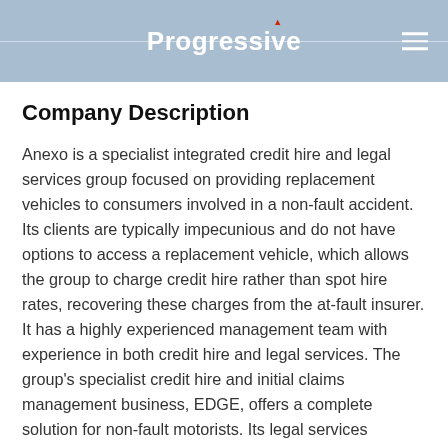Progressive
Company Description
Anexo is a specialist integrated credit hire and legal services group focused on providing replacement vehicles to consumers involved in a non-fault accident. Its clients are typically impecunious and do not have options to access a replacement vehicle, which allows the group to charge credit hire rather than spot hire rates, recovering these charges from the at-fault insurer. It has a highly experienced management team with experience in both credit hire and legal services. The group's specialist credit hire and initial claims management business, EDGE, offers a complete solution for non-fault motorists. Its legal services business, Bond Turner, conducts the processing of the claim against at-fault motorists and